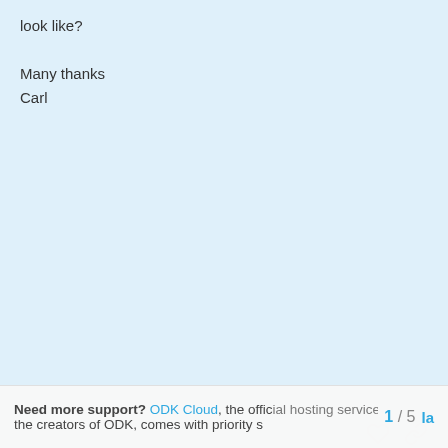look like?

Many thanks
Carl
created May '14   last reply May '14   4 replies
Mitch_S   May '14
Yes, it is possible. You need to set a maximum limit on your repeat group.
Need more support? ODK Cloud, the official hosting service from the creators of ODK, comes with priority s  1 / 5